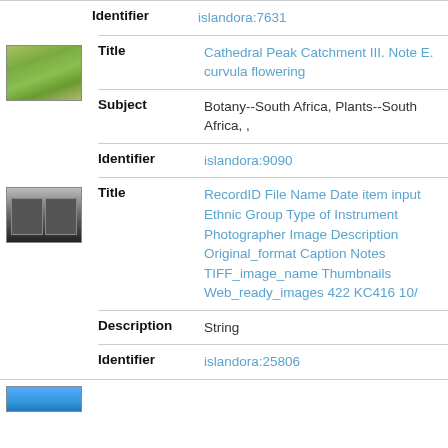Identifier: islandora:7631
[Figure (photo): Thumbnail of landscape with green hills]
Title: Cathedral Peak Catchment III. Note E. curvula flowering
Subject: Botany--South Africa, Plants--South Africa, ,
Identifier: islandora:9090
[Figure (photo): Thumbnail of a room with shelving/cabinets]
Title: RecordID File Name Date item input Ethnic Group Type of Instrument Photographer Image Description Original_format Caption Notes TIFF_image_name Thumbnails Web_ready_images 422 KC416 10/
Description: String
Identifier: islandora:25806
[Figure (photo): Partial thumbnail at bottom of page]